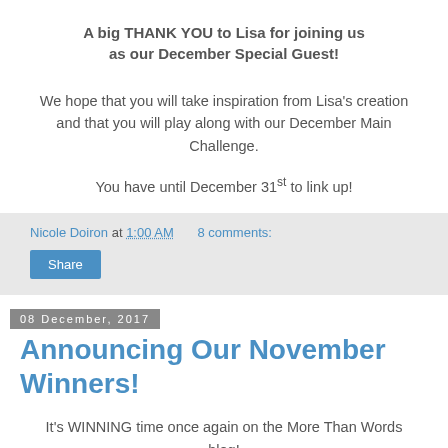A big THANK YOU to Lisa for joining us as our December Special Guest!
We hope that you will take inspiration from Lisa's creation and that you will play along with our December Main Challenge.
You have until December 31st to link up!
Nicole Doiron at 1:00 AM   8 comments:
Share
08 December, 2017
Announcing Our November Winners!
It's WINNING time once again on the More Than Words blog!